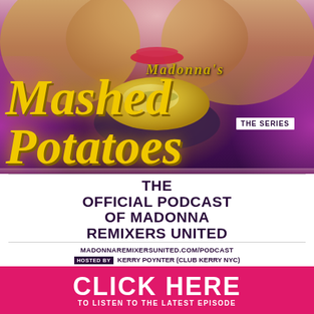[Figure (photo): Promotional image for Madonna's Mashed Potatoes podcast. Top portion shows a blonde woman's face cropped at chin level with red lips, holding a bowl of mashed potatoes. Purple and pink lighting effects surround the bowl. Large yellow cursive text reads 'Madonna's Mashed Potatoes THE SERIES'. Below is a white section with bold black text 'THE OFFICIAL PODCAST OF MADONNA REMIXERS UNITED', URL 'MADONNAREMIXERSUNITED.COM/PODCAST', hosted by Kerry Poynter (Club Kerry NYC), and a pink banner reading 'CLICK HERE TO LISTEN TO THE LATEST EPISODE'.]